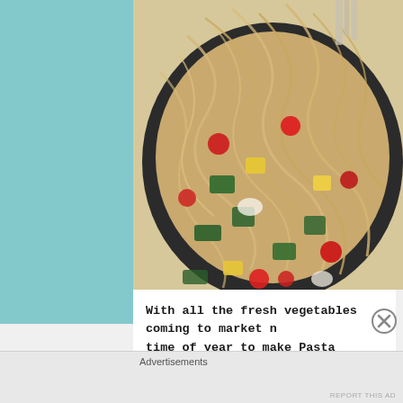[Figure (photo): A dark skillet/pan containing pasta primavera with spaghetti noodles, cherry tomatoes, zucchini chunks, yellow squash, and other colorful vegetables, with a fork or spoon visible at the top]
With all the fresh vegetables coming to market now, it's the perfect time of year to make Pasta Primavera.
Advertisements